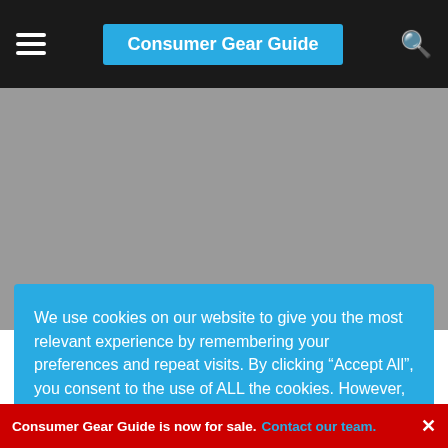Consumer Gear Guide
We use cookies on our website to give you the most relevant experience by remembering your preferences and repeat visits. By clicking “Accept All”, you consent to the use of ALL the cookies. However, you may visit “Cookie Settings” to provide a controlled consent.
storage which is upgradable to 2TB SSD. Both Full HD and 4K (UHD) models have 16GB of RAM.
Port selection on the Razer Blade Pro 17 is admirable. The
Consumer Gear Guide is now for sale. Contact our team. ×